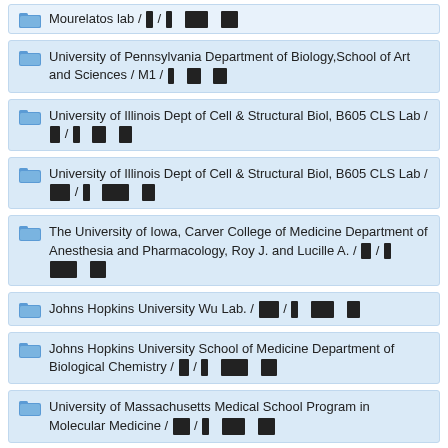Mourelatos lab / ██ / ██   ███████   █████
University of Pennsylvania Department of Biology,School of Art and Sciences / M1 / ██   ████   ████
University of Illinois Dept of Cell & Structural Biol, B605 CLS Lab / ███ / ██   ████   ████
University of Illinois Dept of Cell & Structural Biol, B605 CLS Lab / ██████ / ██   ████████   ████
The University of Iowa, Carver College of Medicine Department of Anesthesia and Pharmacology, Roy J. and Lucille A. / ███ / ██   ████████   █████
Johns Hopkins University Wu Lab. / ██████ / ██   ███████   ████
Johns Hopkins University School of Medicine Department of Biological Chemistry / ███ / ██   ████████   █████
University of Massachusetts Medical School Program in Molecular Medicine / █████ / ██   ███████   █████
Copyright : JFLY All Rights Reserved.